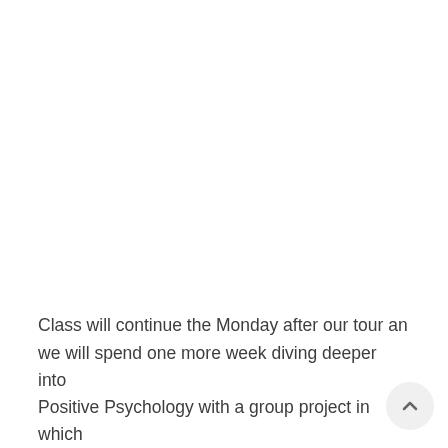Class will continue the Monday after our tour and we will spend one more week diving deeper into Positive Psychology with a group project in which